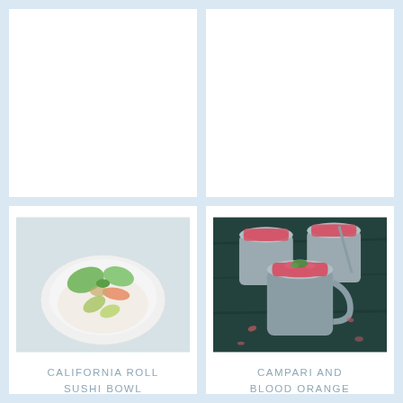[Figure (photo): Top-left card partially visible, white/cropped food photo]
[Figure (photo): Top-right card partially visible, white/cropped food photo]
[Figure (photo): California Roll Sushi Bowl - overhead shot of a white bowl with rice, avocado slices, salmon, and lettuce on a white tiled surface]
CALIFORNIA ROLL SUSHI BOWL
[Figure (photo): Campari and Blood Orange Granita - three grey mugs filled with red granita garnished with herbs on a dark wooden surface]
CAMPARI AND BLOOD ORANGE GRANITA